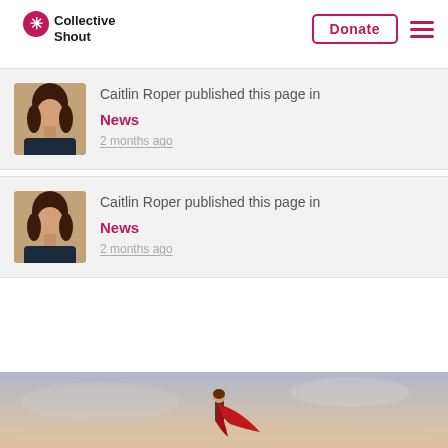Collective Shout | Donate | Menu
Caitlin Roper published this page in News 2 months ago
Caitlin Roper published this page in News 2 months ago
[Figure (photo): Partial view of a child in a red cape standing against a sky background]